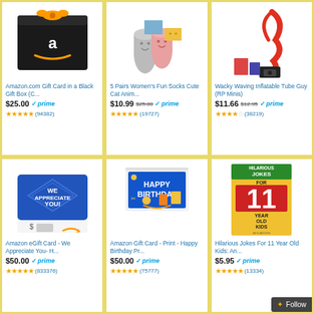[Figure (screenshot): Amazon product grid showing 6 product listings: Amazon Gift Card in Black Box, Cat Socks, Wacky Waving Inflatable Tube Guy, Amazon eGift Card We Appreciate You, Amazon Gift Card Happy Birthday, Hilarious Jokes For 11 Year Old Kids book]
Amazon.com Gift Card in a Black Gift Box (C... $25.00 prime (94382)
5 Pairs Women's Fun Socks Cute Cat Anim... $10.99 $25.00 prime (19727)
Wacky Waving Inflatable Tube Guy (RP Minis) $11.66 $12.95 prime (38219)
Amazon eGift Card - We Appreciate You- H... $50.00 prime (833376)
Amazon Gift Card - Print - Happy Birthday Pr... $50.00 prime (75777)
Hilarious Jokes For 11 Year Old Kids: An... $5.95 prime (13334+)
Follow